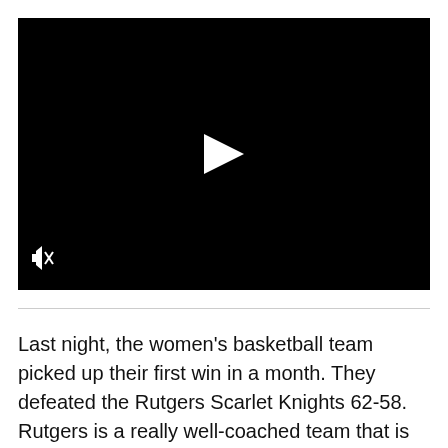[Figure (screenshot): Black video player with a white play button triangle in the center and a muted/speaker-off icon in the bottom-left corner]
Last night, the women's basketball team picked up their first win in a month. They defeated the Rutgers Scarlet Knights 62-58. Rutgers is a really well-coached team that is generally known for being a lockdown defensive team. Jessica Shepard posted a double